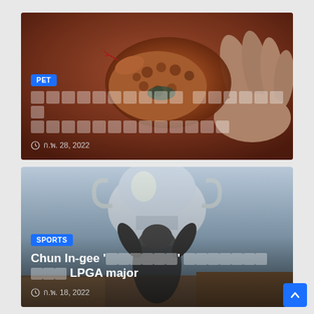[Figure (photo): A colorful orange and black patterned snake (rainbow boa) coiled in a person's hand against a brown/reddish background. Category badge: PET. Title in Thai script (rendered as placeholder boxes). Date: ก.พ. 28, 2022]
[Figure (photo): A golfer (Chun In-gee) holding up a large trophy cup above her head. Sports photograph. Category badge: SPORTS. Title: Chun In-gee 'คว้าแชมป์' ทะลุทะลวง คว้า LPGA major. Date: ก.พ. 18, 2022]